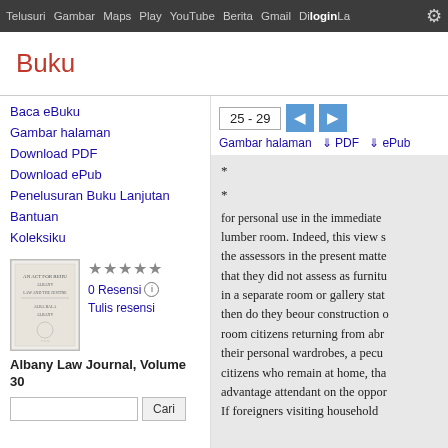Telusuri  Gambar  Maps  Play  YouTube  Berita  Gmail  Ditemukan  Login  Lainnya  [gear icon]
Buku
25 - 29
Gambar halaman  PDF  ePub
Baca eBuku
Gambar halaman
Download PDF
Download ePub
Penelusuran Buku Lanjutan
Bantuan
Koleksiku
[Figure (illustration): Book cover thumbnail for Albany Law Journal, Volume 30]
★★★★★
0 Resensi ⓘ
Tulis resensi
Albany Law Journal, Volume 30
* * for personal use in the immediate lumber room. Indeed, this view s the assessors in the present matte that they did not assess as furnitu in a separate room or gallery stat then do they beour construction o room citizens returning from abr their personal wardrobes, a pecu citizens who remain at home, tha advantage attendant on the oppor If foreigners visiting household